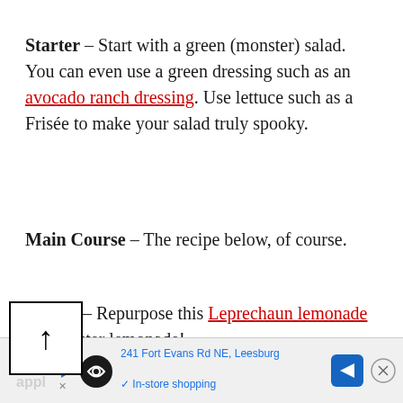Starter – Start with a green (monster) salad. You can even use a green dressing such as an avocado ranch dressing. Use lettuce such as a Frisée to make your salad truly spooky.
Main Course – The recipe below, of course.
Drinks – Repurpose this Leprechaun lemonade as Monster lemonade!
Dessert – Try coffin bread or candied
[Figure (other): Black arrow-up icon inside a square border, used as a back-to-top button]
241 Fort Evans Rd NE, Leesburg | In-store shopping